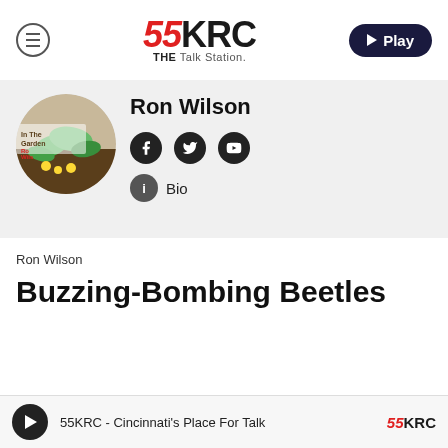[Figure (logo): 55KRC THE Talk Station radio logo with hamburger menu icon and Play button]
[Figure (photo): Circular profile photo of Ron Wilson showing garden plants with green leaves and yellow dandelions, text overlay reads 'In The Garden Ron Wilson']
Ron Wilson
[Figure (infographic): Social media icons: Facebook, Twitter, YouTube circles, and a Bio button with info icon]
Ron Wilson
Buzzing-Bombing Beetles
55KRC - Cincinnati's Place For Talk